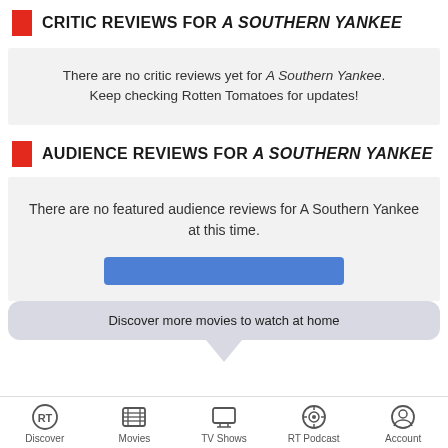CRITIC REVIEWS FOR A SOUTHERN YANKEE
There are no critic reviews yet for A Southern Yankee. Keep checking Rotten Tomatoes for updates!
AUDIENCE REVIEWS FOR A SOUTHERN YANKEE
There are no featured audience reviews for A Southern Yankee at this time.
Discover more movies to watch at home
Discover  Movies  TV Shows  RT Podcast  Account